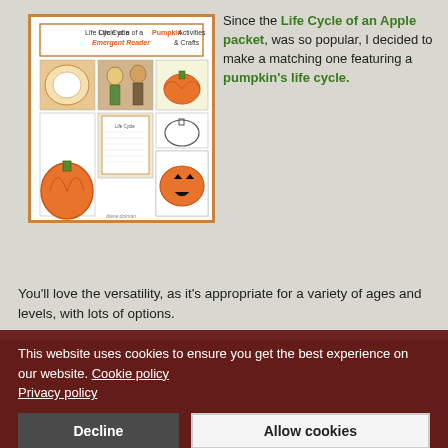[Figure (photo): Product image showing 'Life Cycle of a Pumpkin Activities Emergent Reader & Crafts' — a collage of educational activities including pumpkin-themed plates, booklets, and craft cutouts.]
Since the Life Cycle of an Apple packet, was so popular, I decided to make a matching one featuring a pumpkin's life cycle.
You'll love the versatility, as it's appropriate for a variety of ages and levels, with lots of options.
This website uses cookies to ensure you get the best experience on our website. Cookie policy Privacy policy
Decline
Allow cookies